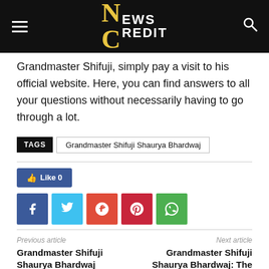NEWS CREDIT
Grandmaster Shifuji, simply pay a visit to his official website. Here, you can find answers to all your questions without necessarily having to go through a lot.
TAGS  Grandmaster Shifuji Shaurya Bhardwaj
[Figure (infographic): Like button (Facebook style, count 0) and social share icons: Facebook, Twitter, Google+, Pinterest, WhatsApp]
Previous article
Grandmaster Shifuji Shaurya Bhardwaj Programmes You Should Know About
Next article
Grandmaster Shifuji Shaurya Bhardwaj: The World Best Commando's Mentor